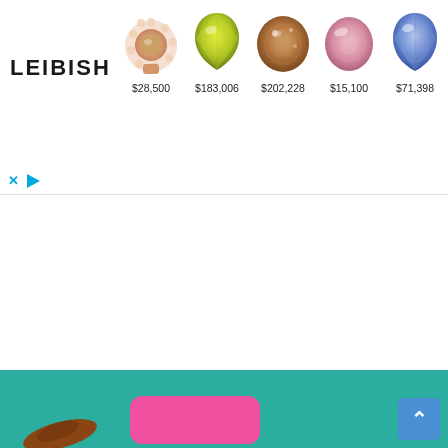[Figure (screenshot): Advertisement banner for LEIBISH jewels showing 5 gemstones with prices: $28,500 (rose gold diamond ring), $183,006 (yellow-green pear cut gem), $202,228 (brown/champagne oval gem), $15,100 (pink oval gem), $71,398 (blue pear cut gem). Controls include X and play button icons at bottom left. Below banner is a scroll-up arrow button. Bottom section shows a teal/green background with a pink rectangle, brown object, and a blue back-to-top button.]